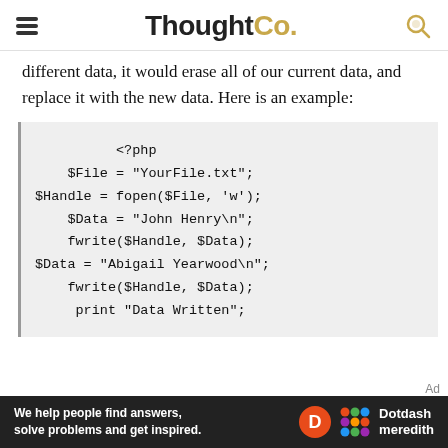ThoughtCo.
different data, it would erase all of our current data, and replace it with the new data. Here is an example:
[Figure (screenshot): PHP code block showing file write operations: <?php, $File = "YourFile.txt";, $Handle = fopen($File, 'w');, $Data = "John Henry\n";, fwrite($Handle, $Data);, $Data = "Abigail Yearwood\n";, fwrite($Handle, $Data);, print "Data Written";]
We help people find answers, solve problems and get inspired. Dotdash meredith